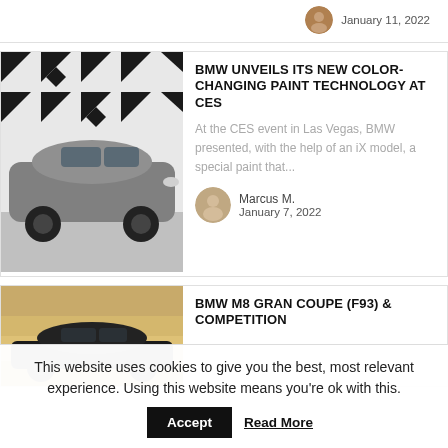January 11, 2022
BMW UNVEILS ITS NEW COLOR-CHANGING PAINT TECHNOLOGY AT CES
At the CES event in Las Vegas, BMW presented, with the help of an iX model, a special paint that...
Marcus M.
January 7, 2022
[Figure (photo): BMW iX electric SUV in silver/grey color-changing paint in a studio with geometric black and white pattern background]
BMW M8 GRAN COUPE (F93) & COMPETITION
[Figure (photo): BMW M8 Gran Coupe in dark color photographed outdoors with hazy sky background]
This website uses cookies to give you the best, most relevant experience. Using this website means you're ok with this. Accept Read More